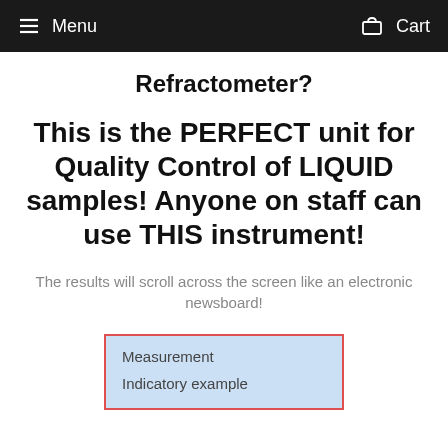Menu  Cart
Refractometer?
This is the PERFECT unit for Quality Control of LIQUID samples!  Anyone on staff can use THIS instrument!
The results will scroll across the screen like an electronic newsboard!
Measurement
Indicatory example